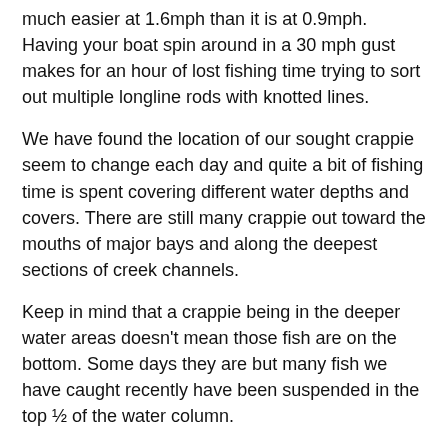much easier at 1.6mph than it is at 0.9mph. Having your boat spin around in a 30 mph gust makes for an hour of lost fishing time trying to sort out multiple longline rods with knotted lines.
We have found the location of our sought crappie seem to change each day and quite a bit of fishing time is spent covering different water depths and covers. There are still many crappie out toward the mouths of major bays and along the deepest sections of creek channels.
Keep in mind that a crappie being in the deeper water areas doesn't mean those fish are on the bottom. Some days they are but many fish we have caught recently have been suspended in the top ½ of the water column.
I always want to have a bait or two running no more than say 8 feet deep. Some days 3-4 feet deep. That's why I keep an eye on my Helix 12 split screen showing side image and down image. Your electronics will show you all your need to know to target fish. Getting them to bite is up to you.